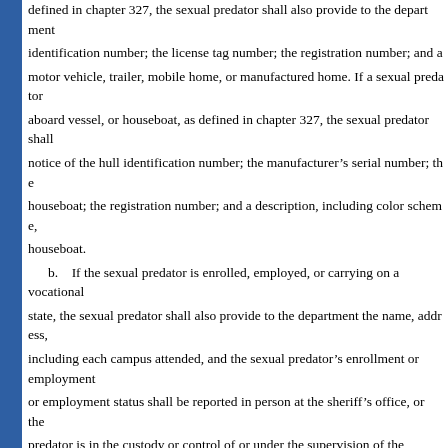defined in chapter 327, the sexual predator shall also provide to the department identification number; the license tag number; the registration number; and a motor vehicle, trailer, mobile home, or manufactured home. If a sexual predator is aboard vessel, or houseboat, as defined in chapter 327, the sexual predator shall provide notice of the hull identification number; the manufacturer's serial number; the houseboat; the registration number; and a description, including color scheme, of the houseboat.
b. If the sexual predator is enrolled, employed, or carrying on a vocation in this state, the sexual predator shall also provide to the department the name, address, including each campus attended, and the sexual predator's enrollment or employment or employment status shall be reported in person at the sheriff's office, or the predator is in the custody or control of or under the supervision of the Department any change in status. The sheriff or the Department of Corrections shall promptly predator's presence and any change in the sexual predator's enrollment or employment.
2. Any other information determined necessary by the department, including nonprivileged personnel and treatment records; and evidentiary genetic markers.
(b) If the sexual predator is in the custody or control of, or under the supervision or is in the custody of a private correctional facility, the sexual predator must register with Corrections. A sexual predator who is under the supervision of the Department and is not incarcerated must register with the Department of Corrections within 3 business days to be a sexual predator. The Department of Corrections shall provide to the department location of, and local telephone number for, any Department of Corrections office that sexual predator. In addition, the Department of Corrections shall notify the department.